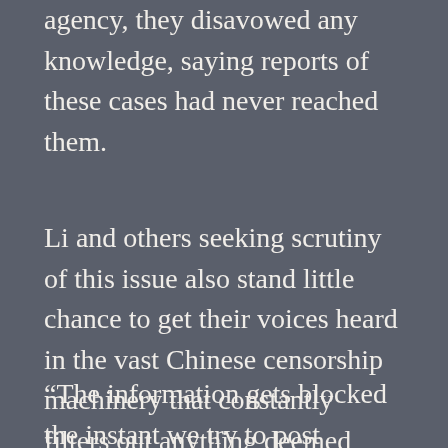agency, they disavowed any knowledge, saying reports of these cases had never reached them.
Li and others seeking scrutiny of this issue also stand little chance to get their voices heard in the vast Chinese censorship machinery that constantly filters out anything deemed harmful to the communist regime’s interests.
“The information gets blocked the instant we try to post something online. You can’t